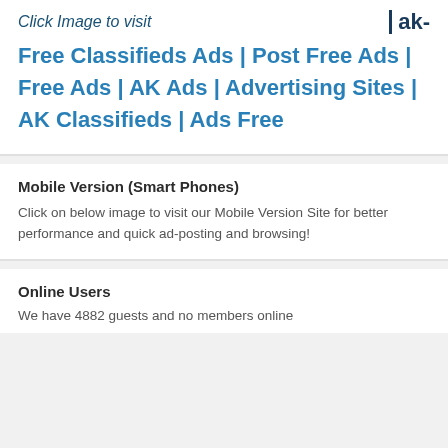Click Image to visit
Free Classifieds Ads | Post Free Ads | Free Ads | AK Ads | Advertising Sites | AK Classifieds | Ads Free
Mobile Version (Smart Phones)
Click on below image to visit our Mobile Version Site for better performance and quick ad-posting and browsing!
Online Users
We have 4882 guests and no members online